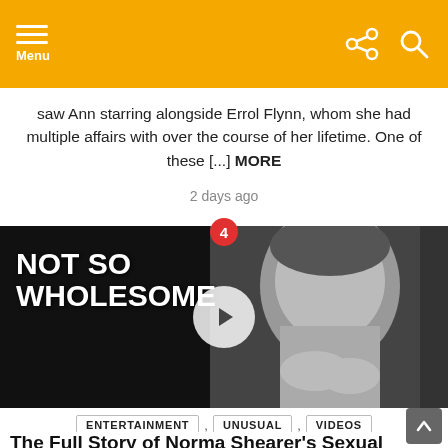Menu
saw Ann starring alongside Errol Flynn, whom she had multiple affairs with over the course of her lifetime. One of these [...] MORE
2 days ago
[Figure (screenshot): Video thumbnail with black background showing a black-and-white photo of Norma Shearer on the right. On the left in large white bold text: 'NOT SO WHOLESOME'. A white play button circle is centered in the image. A red badge with the number 4 appears at the top center.]
ENTERTAINMENT , UNUSUAL , VIDEOS
The Full Story of Norma Shearer's Sexual Liberation
There were plenty of other actresses that were far more beautiful than Norma Shearer was in the 1920s and 1930s – and more spunky and flirtatious ones as well, such as "It Girl" Clara Bow or the